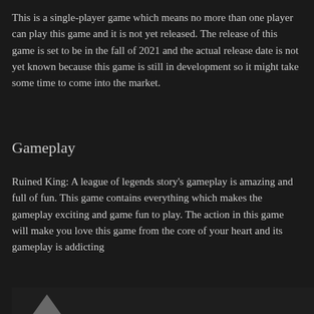This is a single-player game which means no more than one player can play this game and it is not yet released. The release of this game is set to be in the fall of 2021 and the actual release date is not yet known because this game is still in development so it might take some time to come into the market.
Gameplay
Ruined King: A league of legends story's gameplay is amazing and full of fun. This game contains everything which makes the gameplay exciting and game fun to play. The action in this game will make you love this game from the core of your heart and its gameplay is addicting
[Figure (photo): Partial image visible at the bottom of the page, dark background with a small white/light shape visible]